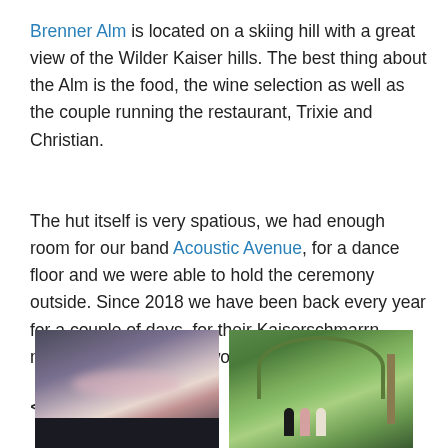Brenner Alm is located on a skiing hill with a great view of the Wilder Kaiser hills. The best thing about the Alm is the food, the wine selection as well as the couple running the restaurant, Trixie and Christian.
The hut itself is very spatious, we had enough room for our band Acoustic Avenue, for a dance floor and we were able to hold the ceremony outside. Since 2018 we have been back every year for a couple of days, for their Kaiserschmarrn mainly. Brenner Alm is worth a visit any day.
<
[Figure (photo): Photo of a dramatic cloudy sky at dusk or dawn with some pink/purple hues, dark silhouette at the bottom]
[Figure (photo): Photo of people at an outdoor ceremony with green hills in the background, an archway decorated with greenery, and a pole visible on the right]